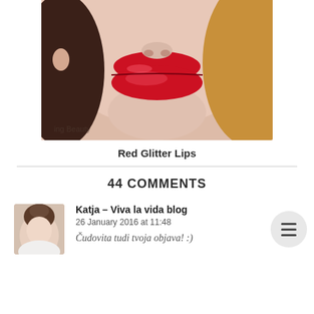[Figure (photo): Close-up photo of a woman's lower face showing red glitter lips with a watermark 'ing Beauty' in the lower left corner]
Red Glitter Lips
44 COMMENTS
[Figure (photo): Avatar photo of Katja - a woman with an updo hairstyle]
Katja – Viva la vida blog
26 January 2016 at 11:48
Čudovita tudi tvoja objava! :)